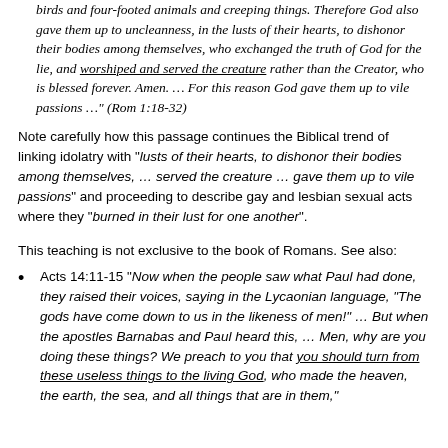birds and four-footed animals and creeping things. Therefore God also gave them up to uncleanness, in the lusts of their hearts, to dishonor their bodies among themselves, who exchanged the truth of God for the lie, and worshiped and served the creature rather than the Creator, who is blessed forever. Amen. ... For this reason God gave them up to vile passions ..." (Rom 1:18-32)
Note carefully how this passage continues the Biblical trend of linking idolatry with "lusts of their hearts, to dishonor their bodies among themselves, ... served the creature ... gave them up to vile passions" and proceeding to describe gay and lesbian sexual acts where they "burned in their lust for one another".
This teaching is not exclusive to the book of Romans. See also:
Acts 14:11-15 "Now when the people saw what Paul had done, they raised their voices, saying in the Lycaonian language, "The gods have come down to us in the likeness of men!" ... But when the apostles Barnabas and Paul heard this, ... Men, why are you doing these things? We preach to you that you should turn from these useless things to the living God, who made the heaven, the earth, the sea, and all things that are in them,"